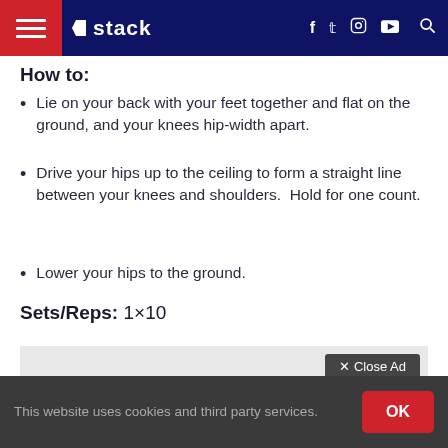stack (navigation bar with social icons)
How to:
Lie on your back with your feet together and flat on the ground, and your knees hip-width apart.
Drive your hips up to the ceiling to form a straight line between your knees and shoulders. Hold for one count.
Lower your hips to the ground.
Sets/Reps: 1×10
[Figure (screenshot): Advertisement banner with Close Ad button and ad images on dark navy background]
This website uses cookies and third party services.